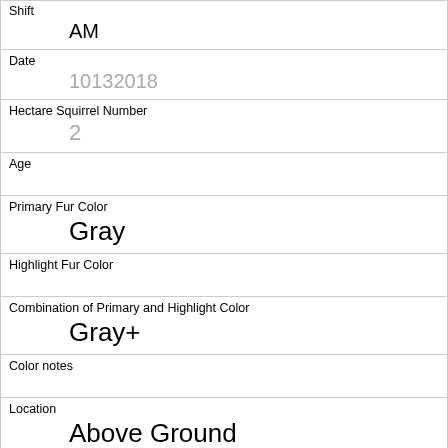Shift
AM
Date
10132018
Hectare Squirrel Number
2
Age
Primary Fur Color
Gray
Highlight Fur Color
Combination of Primary and Highlight Color
Gray+
Color notes
Location
Above Ground
Above Ground Sighter Measurement
15
Specific Location